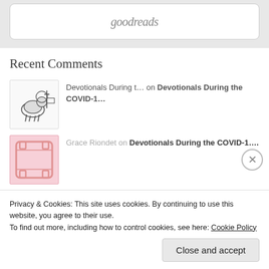[Figure (logo): Goodreads logo text in stylized font inside a rounded rectangle widget]
Recent Comments
Devotionals During t… on Devotionals During the COVID-1…
Grace Riondet on Devotionals During the COVID-1….
Jane Rivera on Devotionals During the COVID-1…
Privacy & Cookies: This site uses cookies. By continuing to use this website, you agree to their use.
To find out more, including how to control cookies, see here: Cookie Policy
Close and accept